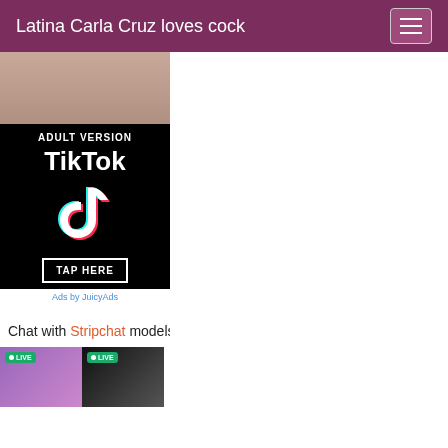Latina Carla Cruz loves cock
[Figure (photo): Adult TikTok advertisement banner on black background showing 'ADULT VERSION TikTok TAP HERE' with TikTok logo]
Ads by JuicyAds
Chat with Stripchat models now!
[Figure (photo): Two live stream thumbnails with green LIVE badges]